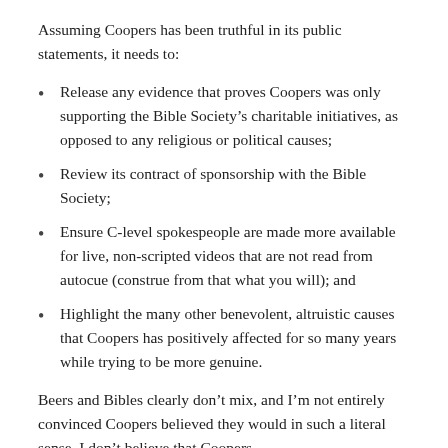Assuming Coopers has been truthful in its public statements, it needs to:
Release any evidence that proves Coopers was only supporting the Bible Society’s charitable initiatives, as opposed to any religious or political causes;
Review its contract of sponsorship with the Bible Society;
Ensure C-level spokespeople are made more available for live, non-scripted videos that are not read from autocue (construe from that what you will); and
Highlight the many other benevolent, altruistic causes that Coopers has positively affected for so many years while trying to be more genuine.
Beers and Bibles clearly don’t mix, and I’m not entirely convinced Coopers believed they would in such a literal sense. I don’t believe that Coopers